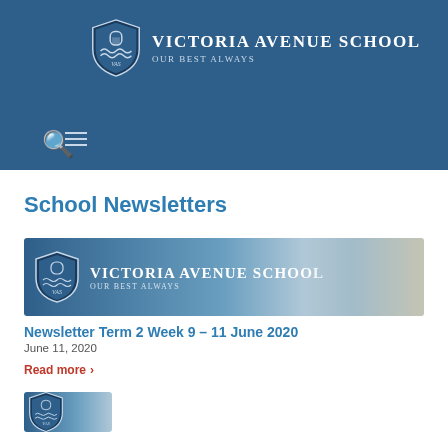Victoria Avenue School — Our Best Always
School Newsletters
[Figure (illustration): Victoria Avenue School newsletter banner with shield logo, school name and tagline, and students in background]
Newsletter Term 2 Week 9 – 11 June 2020
June 11, 2020
Read more >
[Figure (illustration): Partial Victoria Avenue School newsletter banner at bottom of page]